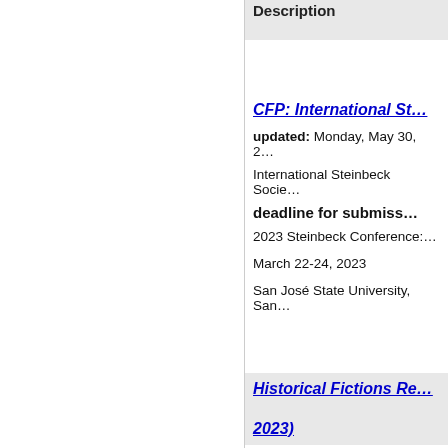Description
CFP: International St…
updated: Monday, May 30, 2…
International Steinbeck Socie…
deadline for submiss…
2023 Steinbeck Conference:…
March 22-24, 2023
San José State University, San…
Historical Fictions Re… 2023)
updated: Monday, May 30,…